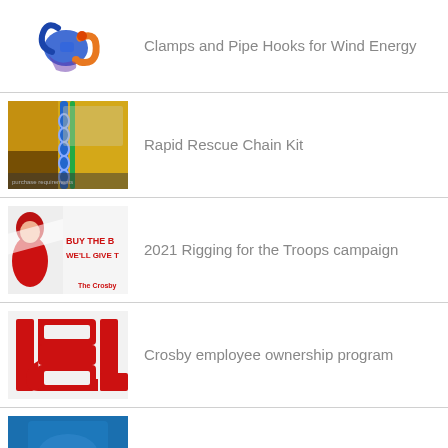Clamps and Pipe Hooks for Wind Energy
Rapid Rescue Chain Kit
2021 Rigging for the Troops campaign
Crosby employee ownership program